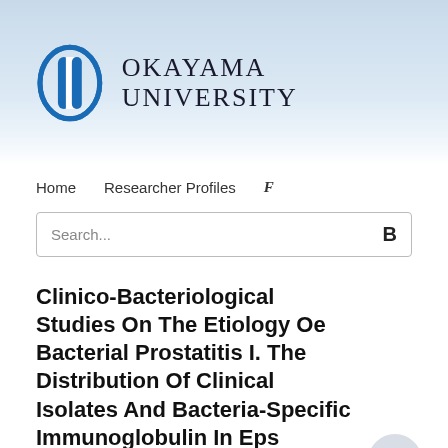[Figure (logo): Okayama University logo with blue oval/shield icon and university name in serif text]
Home   Researcher Profiles   F
Search...   B
Clinico-Bacteriological Studies On The Etiology Oe Bacterial Prostatitis I. The Distribution Of Clinical Isolates And Bacteria-Specific Immunoglobulin In Eps
Daisuke Yamada